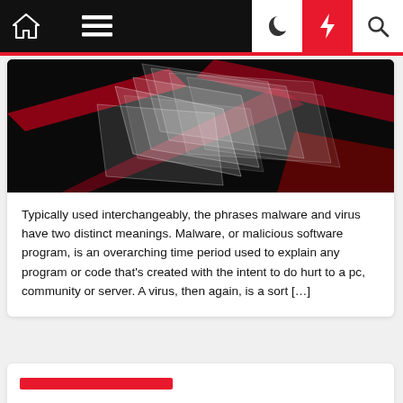Navigation bar with home, menu, moon, lightning, and search icons
[Figure (illustration): Abstract geometric digital art with red and white overlapping rectangular shapes on a dark background, suggesting cybersecurity or digital threat]
Typically used interchangeably, the phrases malware and virus have two distinct meanings. Malware, or malicious software program, is an overarching time period used to explain any program or code that's created with the intent to do hurt to a pc, community or server. A virus, then again, is a sort […]